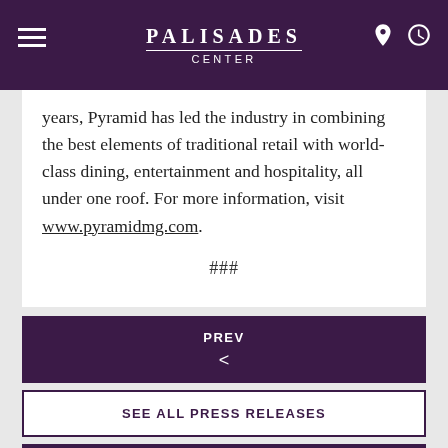PALISADES CENTER
years, Pyramid has led the industry in combining the best elements of traditional retail with world-class dining, entertainment and hospitality, all under one roof. For more information, visit www.pyramidmg.com.
###
PREV <
SEE ALL PRESS RELEASES
NEXT